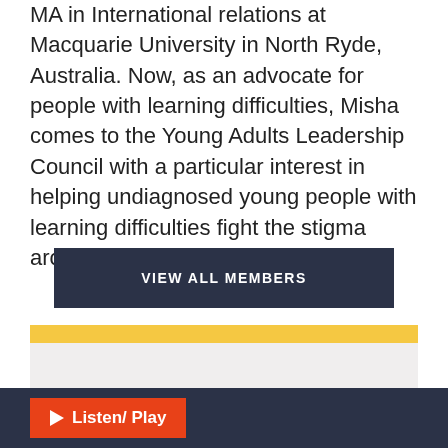MA in International relations at Macquarie University in North Ryde, Australia. Now, as an advocate for people with learning difficulties, Misha comes to the Young Adults Leadership Council with a particular interest in helping undiagnosed young people with learning difficulties fight the stigma around getting tested.
VIEW ALL MEMBERS
[Figure (other): Yellow bar accent followed by a light gray content section]
Listen/ Play